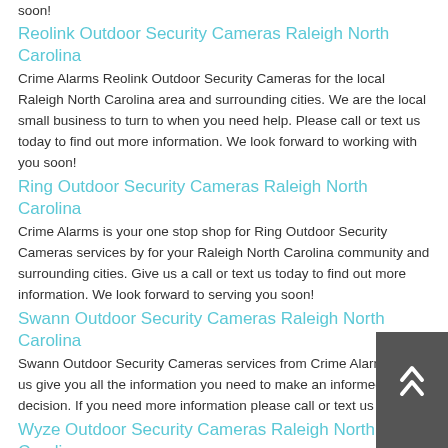soon!
Reolink Outdoor Security Cameras Raleigh North Carolina
Crime Alarms Reolink Outdoor Security Cameras for the local Raleigh North Carolina area and surrounding cities. We are the local small business to turn to when you need help. Please call or text us today to find out more information. We look forward to working with you soon!
Ring Outdoor Security Cameras Raleigh North Carolina
Crime Alarms is your one stop shop for Ring Outdoor Security Cameras services by for your Raleigh North Carolina community and surrounding cities. Give us a call or text us today to find out more information. We look forward to serving you soon!
Swann Outdoor Security Cameras Raleigh North Carolina
Swann Outdoor Security Cameras services from Crime Alarms. Let us give you all the information you need to make an informed decision. If you need more information please call or text us today!
Wyze Outdoor Security Cameras Raleigh North Carolina
Crime Alarms is your one stop shop for Wyze Outdoor Security